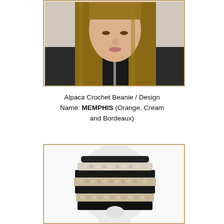[Figure (photo): Woman with long straight brown hair wearing a dark leather jacket, shown from shoulders up, cropped at top of head. Photo has a golden/tan border.]
Alpaca Crochet Beanie / Design Name: MEMPHIS (Orange, Cream and Bordeaux)
[Figure (photo): White mannequin head wearing a crochet beanie hat with black, cream, and tan/beige horizontal stripes in a textured stitch pattern. Photo has a golden/tan border. Sideways text reads 'Design Name: MEMPHIS'.]